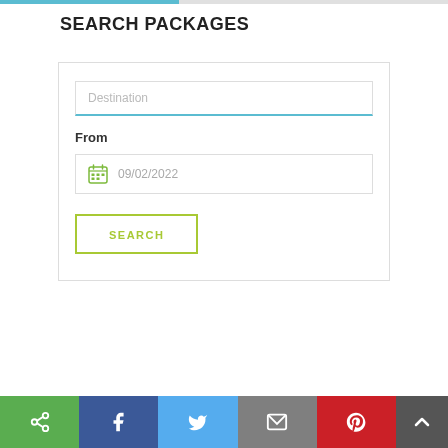SEARCH PACKAGES
[Figure (screenshot): Search packages form with Destination text input, From date field showing 09/02/2022 with calendar icon, and a SEARCH button with olive/yellow-green border]
[Figure (infographic): Social sharing footer bar with share, Facebook, Twitter, email, Pinterest buttons and scroll-to-top button]